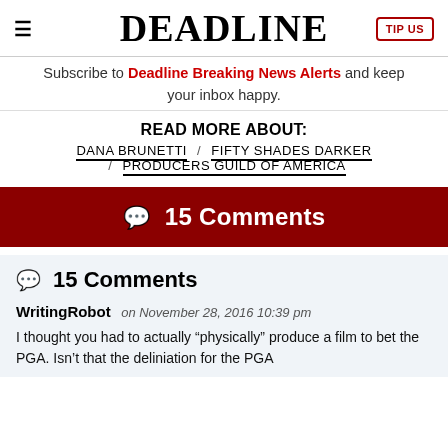DEADLINE
Subscribe to Deadline Breaking News Alerts and keep your inbox happy.
READ MORE ABOUT:
DANA BRUNETTI / FIFTY SHADES DARKER / PRODUCERS GUILD OF AMERICA
💬 15 Comments
💬 15 Comments
WritingRobot on November 28, 2016 10:39 pm
I thought you had to actually “physically” produce a film to bet the PGA. Isn’t that the deliniation for the PGA